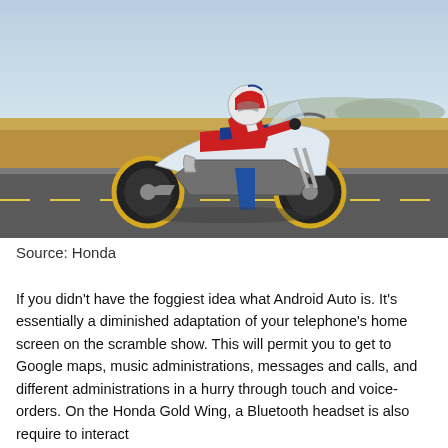[Figure (photo): A motorcyclist in red and white racing gear riding a Honda Africa Twin adventure motorcycle on a desert road, with golden fields and distant mountains in the background under a clear sky.]
Source: Honda
If you didn't have the foggiest idea what Android Auto is. It's essentially a diminished adaptation of your telephone's home screen on the scramble show. This will permit you to get to Google maps, music administrations, messages and calls, and different administrations in a hurry through touch and voice-orders. On the Honda Gold Wing, a Bluetooth headset is also require to interact